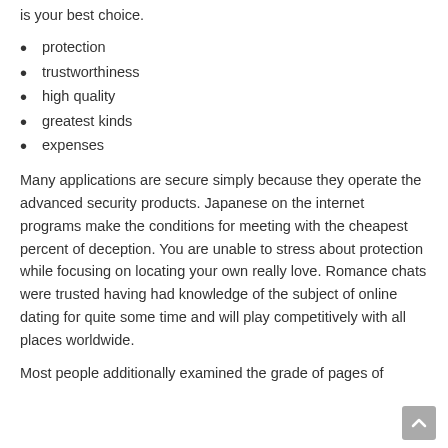is your best choice.
protection
trustworthiness
high quality
greatest kinds
expenses
Many applications are secure simply because they operate the advanced security products. Japanese on the internet programs make the conditions for meeting with the cheapest percent of deception. You are unable to stress about protection while focusing on locating your own really love. Romance chats were trusted having had knowledge of the subject of online dating for quite some time and will play competitively with all places worldwide.
Most people additionally examined the grade of pages of